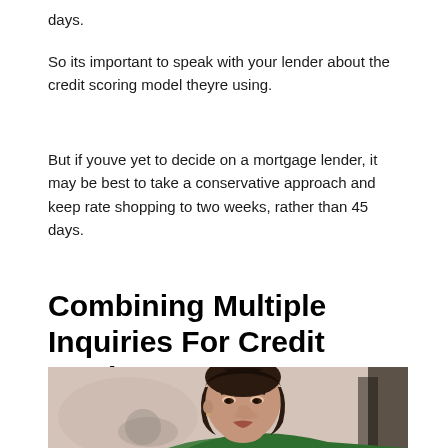days.
So its important to speak with your lender about the credit scoring model theyre using.
But if youve yet to decide on a mortgage lender, it may be best to take a conservative approach and keep rate shopping to two weeks, rather than 45 days.
Combining Multiple Inquiries For Credit Cards
[Figure (photo): A woman with dark hair wearing a green top, looking downward with a concerned expression, photographed in an indoor setting with blurred background.]